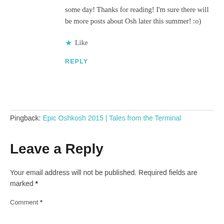some day! Thanks for reading! I'm sure there will be more posts about Osh later this summer! :o)
★ Like
REPLY
Pingback: Epic Oshkosh 2015 | Tales from the Terminal
Leave a Reply
Your email address will not be published. Required fields are marked *
Comment *